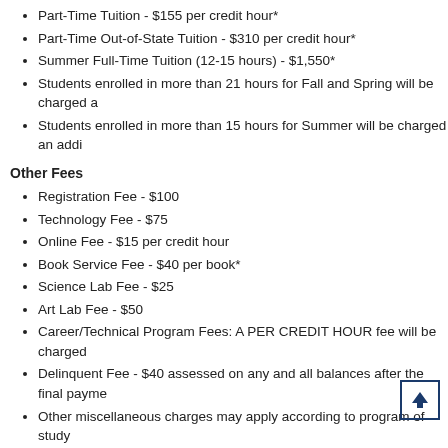Part-Time Tuition - $155 per credit hour*
Part-Time Out-of-State Tuition - $310 per credit hour*
Summer Full-Time Tuition (12-15 hours) - $1,550*
Students enrolled in more than 21 hours for Fall and Spring will be charged a
Students enrolled in more than 15 hours for Summer will be charged an addi
Other Fees
Registration Fee - $100
Technology Fee - $75
Online Fee - $15 per credit hour
Book Service Fee - $40 per book*
Science Lab Fee - $25
Art Lab Fee - $50
Career/Technical Program Fees:  A PER CREDIT HOUR fee will be charged
Delinquent Fee - $40 assessed on any and all balances after the final payme
Other miscellaneous charges may apply according to program of study
Dual Credit High School classes - $100 per class
*Tuition and book rental fees are the only refundable fees.  All other fees are N
Health Care Assistant Program Expenses – Non Refundable (Cost may be su
Prior to Entering Program
Criminal Background Check $65 - $80 (MGCCC Campus Police)